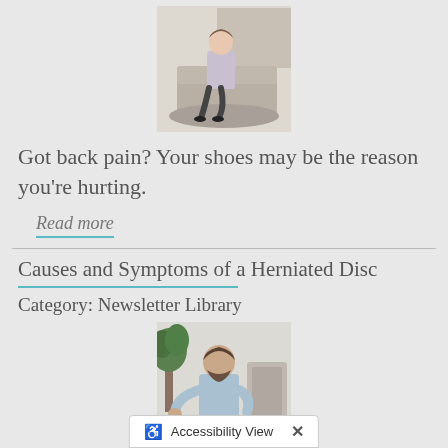[Figure (photo): Woman in business attire sitting on a couch in an office setting, holding her back or shoulder area]
Got back pain? Your shoes may be the reason you're hurting.
Read more
Causes and Symptoms of a Herniated Disc
Category: Newsletter Library
[Figure (photo): Man in light blue shirt holding his lower back in pain, seated or standing in a room with a plant]